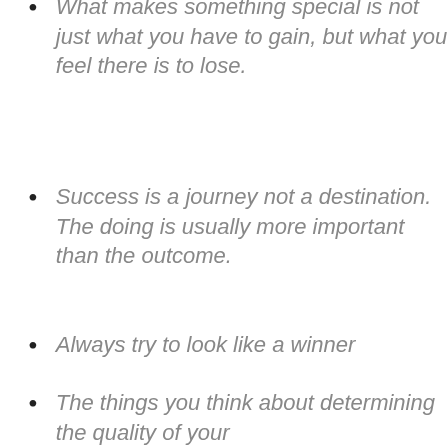What makes something special is not just what you have to gain, but what you feel there is to lose.
Success is a journey not a destination. The doing is usually more important than the outcome.
Always try to look like a winner
The things you think about determining the quality of your